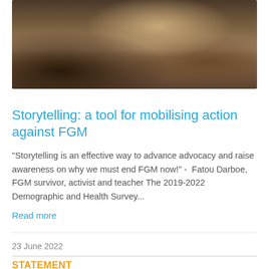[Figure (photo): Photograph of women looking at a document together, hands pointing at paper, outdoor setting]
Storytelling: a tool for mobilising action against FGM
“Storytelling is an effective way to advance advocacy and raise awareness on why we must end FGM now!” -  Fatou Darboe, FGM survivor, activist and teacher The 2019-2022 Demographic and Health Survey...
Read more
23 June 2022
STATEMENT
[Figure (photo): Partial photograph at bottom of page, appears to show people with blue background elements]